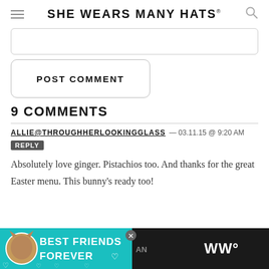SHE WEARS MANY HATS
(comment input box)
POST COMMENT
9 COMMENTS
ALLIE@THROUGHHERLOOKINGGLASS — 03.11.15 @ 9:20 AM  REPLY
Absolutely love ginger. Pistachios too. And thanks for the great Easter menu. This bunny’s ready too!
[Figure (photo): Advertisement banner at bottom: teal background with cat image and text 'BEST FRIENDS FOREVER' with hearts, plus dark sidebar area with WW logo]